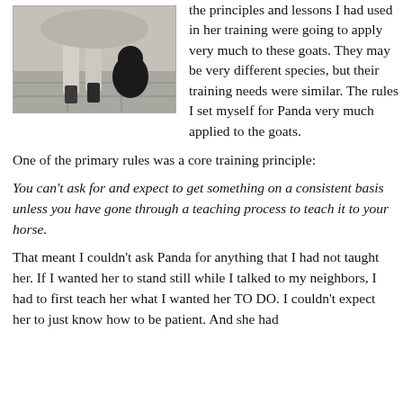[Figure (photo): Photo of a horse's legs and hooves on a stone/concrete surface, partially visible body in the upper portion]
the principles and lessons I had used in her training were going to apply very much to these goats. They may be very different species, but their training needs were similar. The rules I set myself for Panda very much applied to the goats.
One of the primary rules was a core training principle:
You can't ask for and expect to get something on a consistent basis unless you have gone through a teaching process to teach it to your horse.
That meant I couldn't ask Panda for anything that I had not taught her. If I wanted her to stand still while I talked to my neighbors, I had to first teach her what I wanted her TO DO. I couldn't expect her to just know how to be patient. And she had